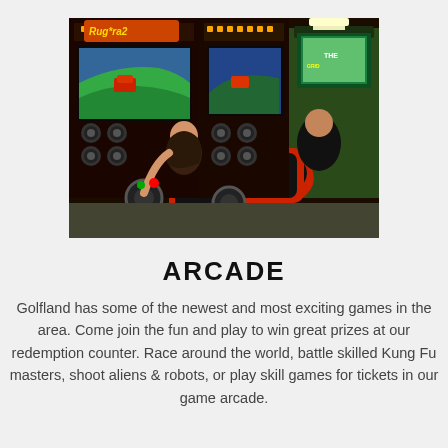[Figure (photo): People playing arcade racing games in an arcade, sitting in racing seats with steering wheels in front of large screens showing a racing game. Multiple arcade cabinets visible in the background.]
ARCADE
Golfland has some of the newest and most exciting games in the area. Come join the fun and play to win great prizes at our redemption counter. Race around the world, battle skilled Kung Fu masters, shoot aliens & robots, or play skill games for tickets in our game arcade.